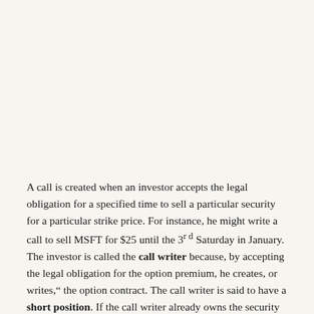A call is created when an investor accepts the legal obligation for a specified time to sell a particular security for a particular strike price. For instance, he might write a call to sell MSFT for $25 until the 3rd Saturday in January. The investor is called the call writer because, by accepting the legal obligation for the option premium, he creates, or writes, the option contract. The call writer is said to have a short position. If the call writer already owns the security on which the call is written, then the call is a covered call; otherwise, it is a uncovered call or a naked call,